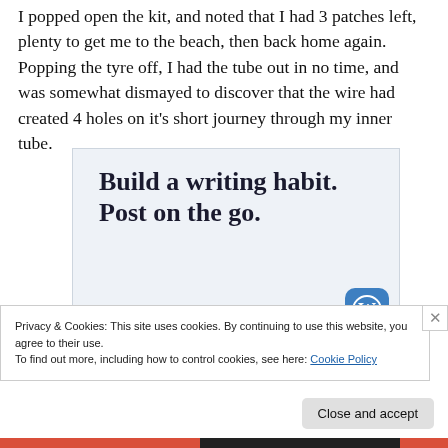I popped open the kit, and noted that I had 3 patches left, plenty to get me to the beach, then back home again. Popping the tyre off, I had the tube out in no time, and was somewhat dismayed to discover that the wire had created 4 holes on it's short journey through my inner tube.
[Figure (other): WordPress app advertisement banner with text 'Build a writing habit. Post on the go.' and a 'GET THE APP' link with WordPress logo]
Privacy & Cookies: This site uses cookies. By continuing to use this website, you agree to their use.
To find out more, including how to control cookies, see here: Cookie Policy
Close and accept